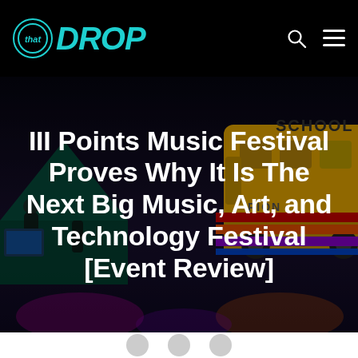that DROP — navigation logo and icons
[Figure (photo): Nighttime outdoor festival scene with a yellow school bus in the background and colorful lights. Dark atmospheric scene with people visible on the left side.]
III Points Music Festival Proves Why It Is The Next Big Music, Art, and Technology Festival [Event Review]